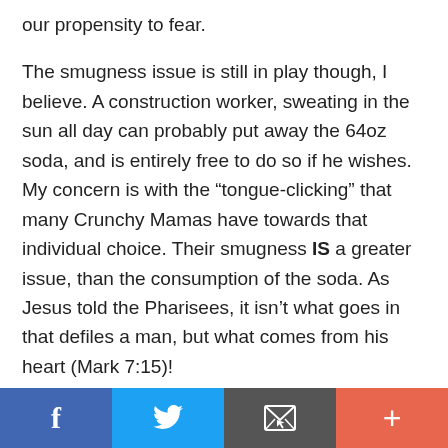our propensity to fear.

The smugness issue is still in play though, I believe. A construction worker, sweating in the sun all day can probably put away the 64oz soda, and is entirely free to do so if he wishes. My concern is with the “tongue-clicking” that many Crunchy Mamas have towards that individual choice. Their smugness IS a greater issue, than the consumption of the soda. As Jesus told the Pharisees, it isn’t what goes in that defiles a man, but what comes from his heart (Mark 7:15)!
f  [Twitter]  [Email]  +